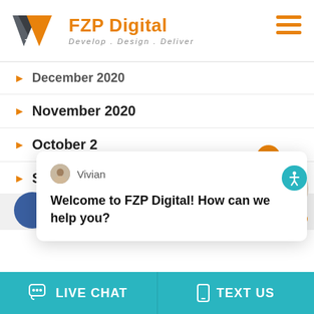[Figure (logo): FZP Digital logo with orange and gray geometric shapes and tagline 'Develop . Design . Deliver']
December 2020
November 2020
October 2020
September 2020
[Figure (screenshot): Chat popup from Vivian: 'Welcome to FZP Digital! How can we help you?' with close button]
[Figure (photo): Online agent photo with notification badge showing 1 and Online Agent label]
LIVE CHAT
TEXT US